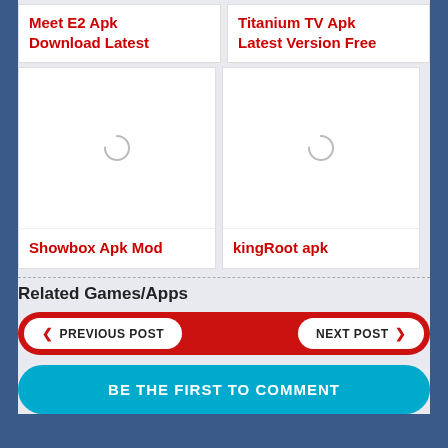Meet E2 Apk Download Latest
Titanium TV Apk Latest Version Free
[Figure (illustration): Card with loading spinner for Showbox Apk Mod]
Showbox Apk Mod
[Figure (illustration): Card with loading spinner for kingRoot apk]
kingRoot apk
Related Games/Apps
PREVIOUS POST
NEXT POST
BE THE FIRST TO COMMENT